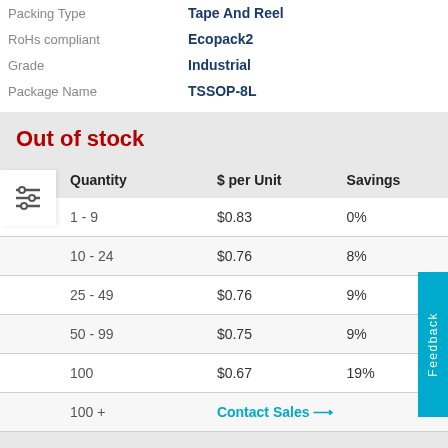|  |  |
| --- | --- |
| Packing Type | Tape And Reel |
| RoHs compliant | Ecopack2 |
| Grade | Industrial |
| Package Name | TSSOP-8L |
Out of stock
| Quantity | $ per Unit | Savings |
| --- | --- | --- |
| 1 - 9 | $0.83 | 0% |
| 10 - 24 | $0.76 | 8% |
| 25 - 49 | $0.76 | 9% |
| 50 - 99 | $0.75 | 9% |
| 100 | $0.67 | 19% |
| 100 + | Contact Sales → |  |
Notify Me